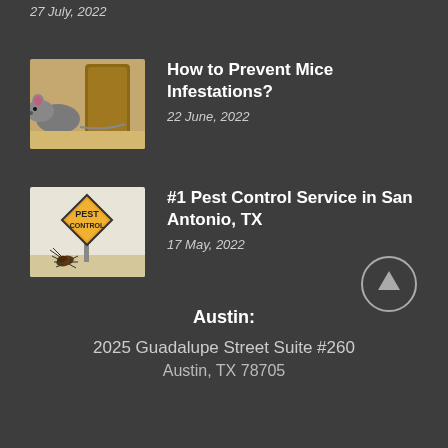27 July, 2022
[Figure (photo): A mouse near a bag with scattered seeds/grain]
How to Prevent Mice Infestations?
22 June, 2022
[Figure (photo): A pest control warning sign (diamond-shaped, orange/yellow) with a cockroach in foreground]
#1 Pest Control Service in San Antonio, TX
17 May, 2022
Austin:
2025 Guadalupe Street Suite #260
Austin, TX 78705